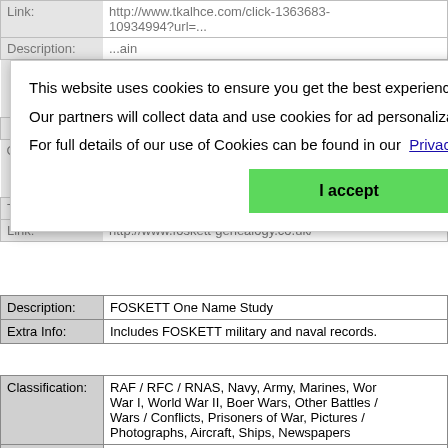| Link: | http://www.tkalhce.com/click-1363683-10934994?url=... |
| Description: | ...ain |
|  | Ancestry's military history companion website with over 6.5 Million records. |
|  | Back to top |
|  | Graves / Memorials / Roll of Honour, Navy, |
| Classification: | World War I, World War II, Prisoners of War, Discharge / Pension Records, |
|  | Service Records, Medals / Awards |
| Title: | FOSKETT One Name Study |
| Link: | http://www.foskett-genealogy.co.uk/ |
[Figure (screenshot): Cookie consent overlay dialog with text: 'This website uses cookies to ensure you get the best experience on our website. Our partners will collect data and use cookies for ad personalization and measurement. For full details of our use of Cookies can be found in our Privacy Policy' and a green 'I accept' button.]
| Description: | FOSKETT One Name Study |
| Extra Info: | Includes FOSKETT military and naval records. |
| Classification: | RAF / RFC / RNAS, Navy, Army, Marines, World War I, World War II, Boer Wars, Other Battles / Wars / Conflicts, Prisoners of War, Pictures / Photographs, Aircraft, Ships, Newspapers |
| Title: | Guardian Newspaper |
| Link: | https://www.theguardian.com/world/2014/jul/31... |